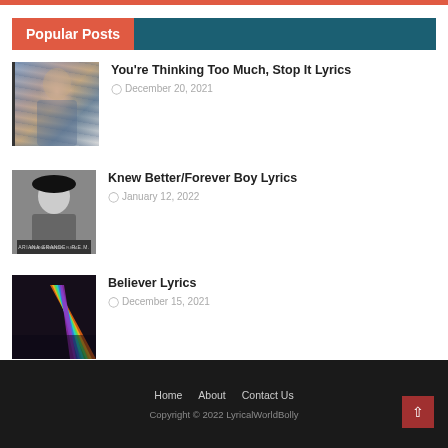Popular Posts
[Figure (photo): Thumbnail photo of person in plaid/flannel shirt]
You're Thinking Too Much, Stop It Lyrics
December 20, 2021
[Figure (photo): Black and white photo of singer with large bow hair accessory]
Knew Better/Forever Boy Lyrics
January 12, 2022
[Figure (photo): Colorful prism/light rays photo with dark background]
Believer Lyrics
December 15, 2021
Home   About   Contact Us
Copyright © 2022 LyricalWorldBolly